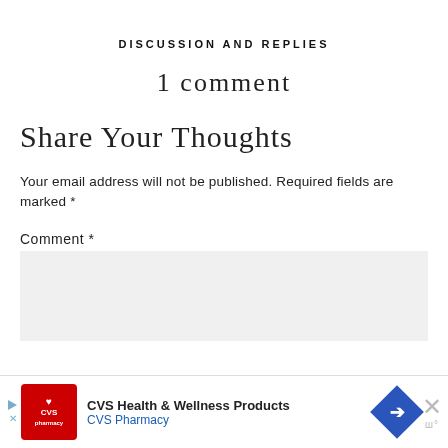DISCUSSION AND REPLIES
1 comment
Share Your Thoughts
Your email address will not be published. Required fields are marked *
Comment *
[Figure (screenshot): Comment text input box (empty, light gray background)]
[Figure (screenshot): CVS Health & Wellness Products advertisement banner at bottom of page with CVS Pharmacy logo, navigation arrow, and close button]